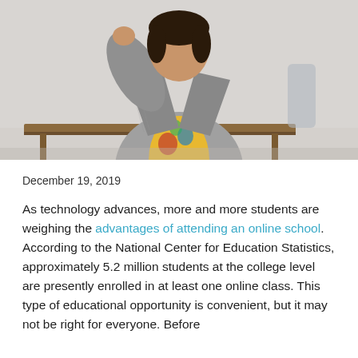[Figure (photo): A person wearing a plaid blazer over a floral top, sitting at or near a wooden desk, photographed from chest up against a light gray background.]
December 19, 2019
As technology advances, more and more students are weighing the advantages of attending an online school. According to the National Center for Education Statistics, approximately 5.2 million students at the college level are presently enrolled in at least one online class. This type of educational opportunity is convenient, but it may not be right for everyone. Before